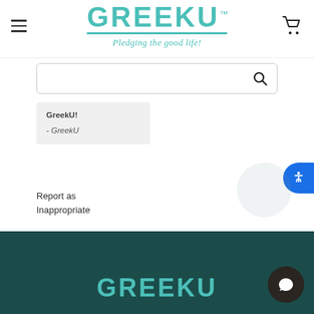[Figure (logo): GreekU logo with teal lettering and tagline 'Pledging the good life!']
[Figure (screenshot): Hamburger menu icon (three horizontal lines) on left, shopping cart icon on right]
[Figure (screenshot): Search bar with magnifying glass icon]
GreekU!
- GreekU
Report as Inappropriate
[Figure (logo): GreekU logo in teal on dark teal footer background]
[Figure (screenshot): Accessibility button (blue circle with person icon) on right edge]
[Figure (screenshot): Chat bubble button (dark circle with speech bubble icon) in footer]